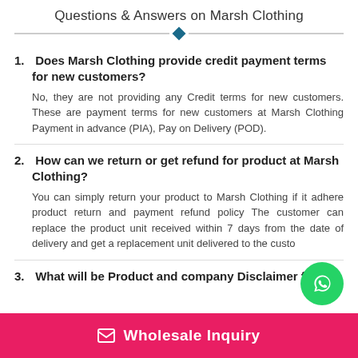Questions & Answers on Marsh Clothing
1. Does Marsh Clothing provide credit payment terms for new customers?
No, they are not providing any Credit terms for new customers. These are payment terms for new customers at Marsh Clothing Payment in advance (PIA), Pay on Delivery (POD).
2. How can we return or get refund for product at Marsh Clothing?
You can simply return your product to Marsh Clothing if it adhere product return and payment refund policy The customer can replace the product unit received within 7 days from the date of delivery and get a replacement unit delivered to the custo...
3. What will be Product and company Disclaimer for
✉ Wholesale Inquiry